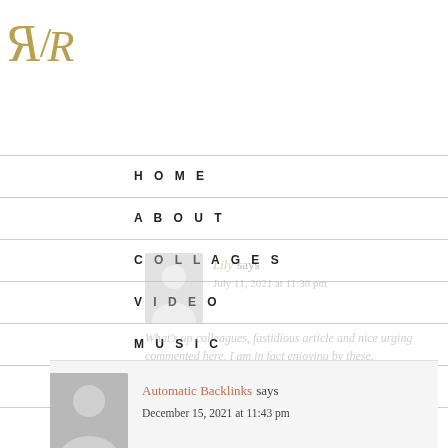RR logo
HOME
ABOUT
COLLAGES
VIDEO
MUSIC
SHOP
CONTACT
Lily says
July 11, 2021 at 11:38 pm
What's up colleagues, fastidious article and nice urging commented here, I am in fact enjoying by these.
Automatic Backlinks says
December 15, 2021 at 11:43 pm